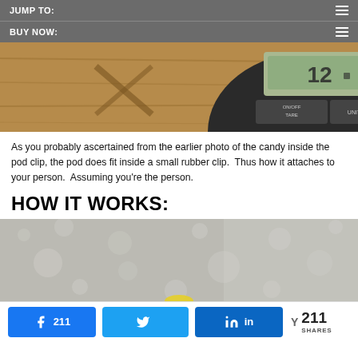JUMP TO:
BUY NOW:
[Figure (photo): Close-up photo of a digital kitchen scale display showing '12' with ON/OFF TARE and UNIT buttons visible, on a wooden surface]
As you probably ascertained from the earlier photo of the candy inside the pod clip, the pod does fit inside a small rubber clip.  Thus how it attaches to your person.  Assuming you're the person.
HOW IT WORKS:
[Figure (photo): Close-up photo of a grainy/textured gray surface (carpet or similar material) with a small yellow object partially visible at the bottom edge]